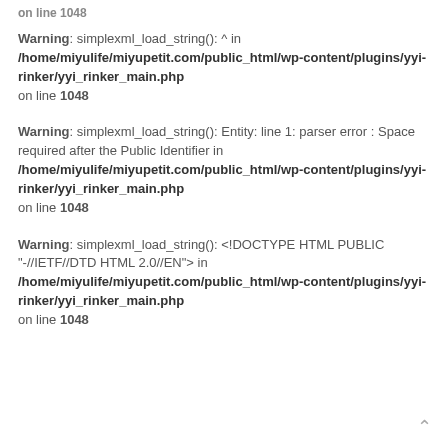Warning: simplexml_load_string(): ^ in /home/miyulife/miyupetit.com/public_html/wp-content/plugins/yyi-rinker/yyi_rinker_main.php on line 1048
Warning: simplexml_load_string(): Entity: line 1: parser error : Space required after the Public Identifier in /home/miyulife/miyupetit.com/public_html/wp-content/plugins/yyi-rinker/yyi_rinker_main.php on line 1048
Warning: simplexml_load_string(): <!DOCTYPE HTML PUBLIC "-//IETF//DTD HTML 2.0//EN"> in /home/miyulife/miyupetit.com/public_html/wp-content/plugins/yyi-rinker/yyi_rinker_main.php on line 1048